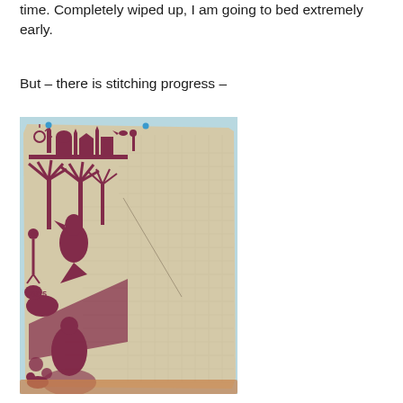time. Completely wiped up, I am going to bed extremely early.
But – there is stitching progress –
[Figure (photo): A piece of linen fabric partially stitched with dark red/maroon cross-stitch embroidery. The completed portion (upper-left and left side) shows intricate designs including buildings with minarets, palm trees, birds, animals, and decorative motifs. The right and lower portions of the fabric are unstitched, showing the blank linen grid. The fabric appears to be pinned or stretched on a light blue surface or mat. A small blue pin is visible at the top.]